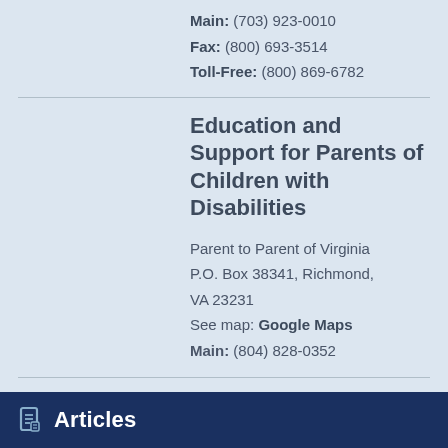Main: (703) 923-0010
Fax: (800) 693-3514
Toll-Free: (800) 869-6782
Education and Support for Parents of Children with Disabilities
Parent to Parent of Virginia
P.O. Box 38341, Richmond, VA 23231
See map: Google Maps
Main: (804) 828-0352
view all (9)
Articles